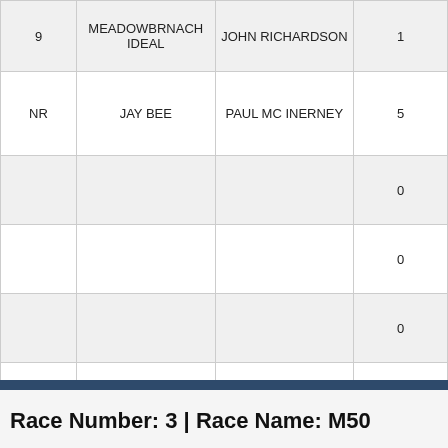| 9 | MEADOWBRNACH IDEAL | JOHN RICHARDSON | 1 |
| NR | JAY BEE | PAUL MC INERNEY | 5 |
|  |  |  | 0 |
|  |  |  | 0 |
|  |  |  | 0 |
|  |  |  | 0 |
| Split Times |  |  | 29.7; |
Race Number: 3 | Race Name: M50